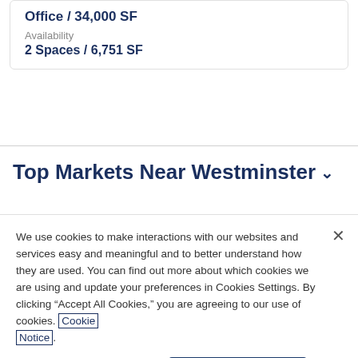Office / 34,000 SF
Availability
2 Spaces / 6,751 SF
Top Markets Near Westminster
We use cookies to make interactions with our websites and services easy and meaningful and to better understand how they are used. You can find out more about which cookies we are using and update your preferences in Cookies Settings. By clicking “Accept All Cookies,” you are agreeing to our use of cookies. Cookie Notice.
Cookies Settings
Accept All Cookies